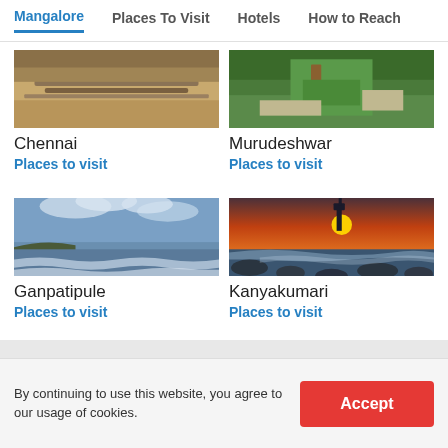Mangalore | Places To Visit | Hotels | How to Reach
[Figure (photo): Aerial/beach view of Chennai]
Chennai
Places to visit
[Figure (photo): Aerial view of Murudeshwar temple and grounds]
Murudeshwar
Places to visit
[Figure (photo): Coastal seascape view of Ganpatipule with waves and blue sky]
Ganpatipule
Places to visit
[Figure (photo): Kanyakumari lighthouse at sunset with rocky shore and waves]
Kanyakumari
Places to visit
By continuing to use this website, you agree to our usage of cookies.